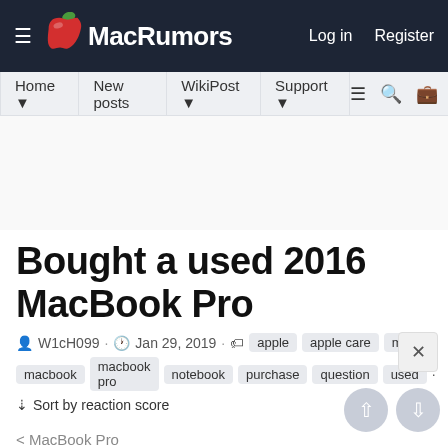MacRumors — Log in  Register
Home · New posts · WikiPost · Support
Bought a used 2016 MacBook Pro
W1cH099 · Jan 29, 2019 · apple  apple care  mac  macbook  macbook pro  notebook  purchase  question  used
↓ Sort by reaction score
< MacBook Pro